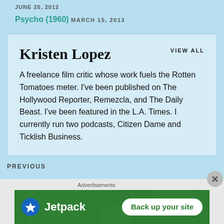JUNE 20, 2012
Psycho (1960)
MARCH 15, 2013
Kristen Lopez
VIEW ALL
A freelance film critic whose work fuels the Rotten Tomatoes meter. I've been published on The Hollywood Reporter, Remezcla, and The Daily Beast. I've been featured in the L.A. Times. I currently run two podcasts, Citizen Dame and Ticklish Business.
PREVIOUS
Advertisements
[Figure (other): Jetpack advertisement banner with green background showing Jetpack logo and 'Back up your site' button]